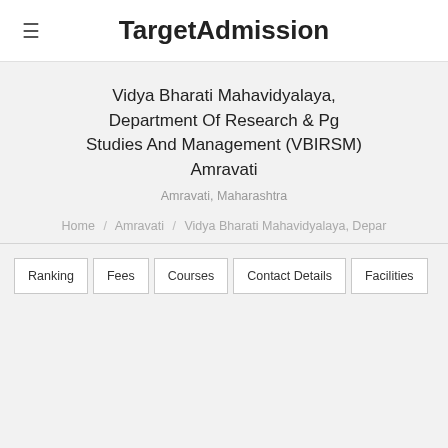TargetAdmission
Vidya Bharati Mahavidyalaya, Department Of Research & Pg Studies And Management (VBIRSM) Amravati
Amravati, Maharashtra
Home / Amravati / Vidya Bharati Mahavidyalaya, Depar
Ranking
Fees
Courses
Contact Details
Facilities